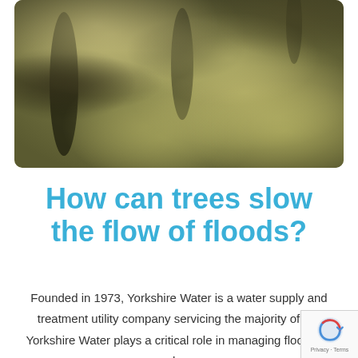[Figure (photo): Aerial or ground-level photo of a forested/grassy area with trees, dappled sunlight on mossy green ground, dark shadowed areas near tree bases. Rounded corners on the image.]
How can trees slow the flow of floods?
Founded in 1973, Yorkshire Water is a water supply and treatment utility company servicing the majority of Yorkshire. Yorkshire Water plays a critical role in managing flood risk by